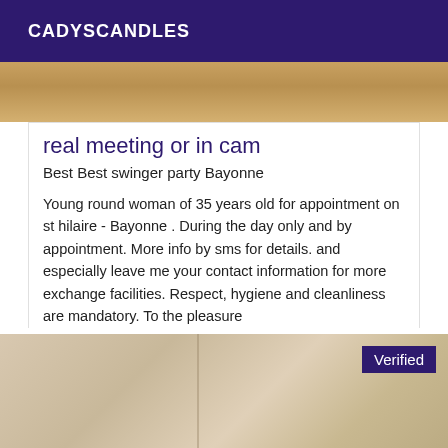CADYSCANDLES
[Figure (photo): Partial photo visible at top of card area, warm yellow/brown tones]
real meeting or in cam
Best Best swinger party Bayonne
Young round woman of 35 years old for appointment on st hilaire - Bayonne . During the day only and by appointment. More info by sms for details. and especially leave me your contact information for more exchange facilities. Respect, hygiene and cleanliness are mandatory. To the pleasure
[Figure (photo): Interior room photo with ceiling light and beige/tan walls, with Verified badge overlay]